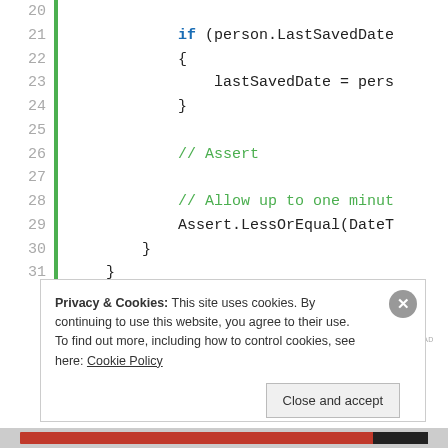[Figure (screenshot): Code editor screenshot showing C# lines 20-31 with line numbers, green vertical gutter bar, code with if statement, lastSavedDate assignment, Assert comments and Assert.LessOrEqual call, black/green syntax highlighting.]
REPORT THIS AD
Privacy & Cookies: This site uses cookies. By continuing to use this website, you agree to their use.
To find out more, including how to control cookies, see here: Cookie Policy
Close and accept